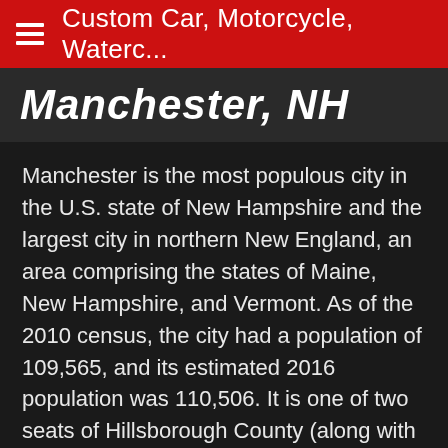Custom Car, Motorcycle, Waterc...
Manchester, NH
Manchester is the most populous city in the U.S. state of New Hampshire and the largest city in northern New England, an area comprising the states of Maine, New Hampshire, and Vermont. As of the 2010 census, the city had a population of 109,565, and its estimated 2016 population was 110,506. It is one of two seats of Hillsborough County (along with Nashua), the state of New Hampshire's most populous county. Manchester is located near the northern end of the Northeast megalopolis, along the banks of the Merrimack River—which divides the city into eastern and western sections. It was first named by the merchant and inventor Samuel Blodgett (after whom Samuel Blodget Park and Blodget Street in Manchester's North End are